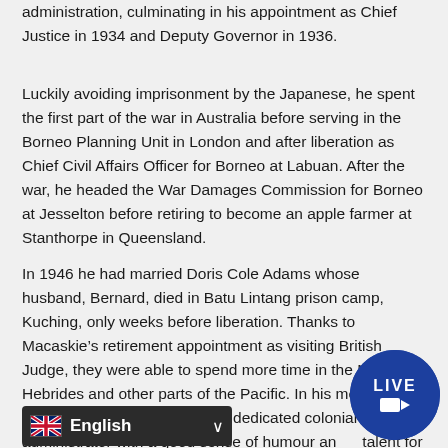administration, culminating in his appointment as Chief Justice in 1934 and Deputy Governor in 1936.
Luckily avoiding imprisonment by the Japanese, he spent the first part of the war in Australia before serving in the Borneo Planning Unit in London and after liberation as Chief Civil Affairs Officer for Borneo at Labuan. After the war, he headed the War Damages Commission for Borneo at Jesselton before retiring to become an apple farmer at Stanthorpe in Queensland.
In 1946 he had married Doris Cole Adams whose husband, Bernard, died in Batu Lintang prison camp, Kuching, only weeks before liberation. Thanks to Macaskie’s retirement appointment as visiting British Judge, they were able to spend more time in the New Hebrides and other parts of the Pacific. In his memoirs, Macaskie reveals himself as a dedicated colonial administrator with a good sense of humour and a talent for diplomacy.
The...